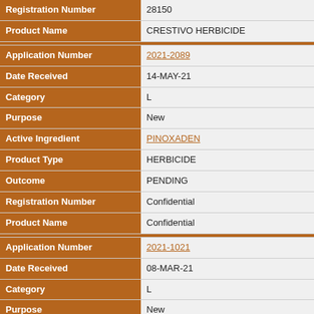| Field | Value |
| --- | --- |
| Registration Number | 28150 |
| Product Name | CRESTIVO HERBICIDE |
| Application Number | 2021-2089 |
| Date Received | 14-MAY-21 |
| Category | L |
| Purpose | New |
| Active Ingredient | PINOXADEN |
| Product Type | HERBICIDE |
| Outcome | PENDING |
| Registration Number | Confidential |
| Product Name | Confidential |
| Application Number | 2021-1021 |
| Date Received | 08-MAR-21 |
| Category | L |
| Purpose | New |
| Active Ingredient | PINOXADEN |
| Product Type | HERBICIDE |
| Outcome | PENDING |
| Registration Number | Confidential |
| Product Name | Confidential |
| Application Number | 2021-0903 |
| Date Received | 18-JAN-21 |